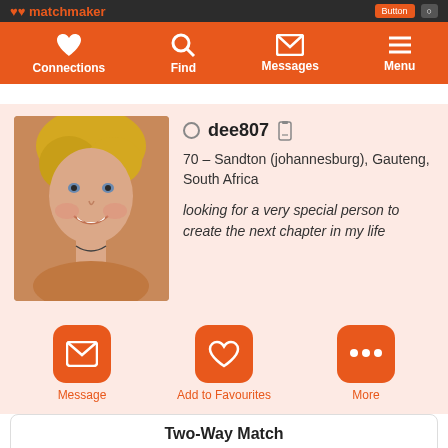matchmaker
[Figure (screenshot): Navigation bar with icons: Connections (heart), Find (search), Messages (envelope), Menu (hamburger)]
[Figure (photo): Profile photo of a blonde woman smiling]
dee807 – 70 – Sandton (johannesburg), Gauteng, South Africa
looking for a very special person to create the next chapter in my life
[Figure (infographic): Action buttons: Message (envelope icon), Add to Favourites (heart icon), More (ellipsis icon)]
Two-Way Match
Join and create your free profile today to see how well you match with her, and hundreds more.
Join now